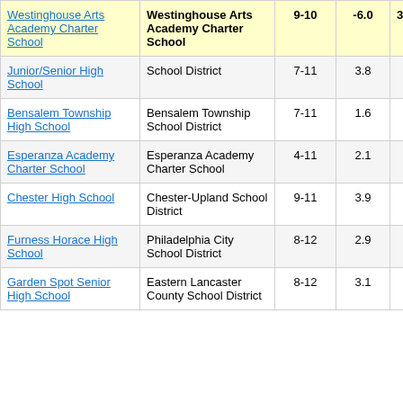| School | District | Grades | Score |  |
| --- | --- | --- | --- | --- |
| Westinghouse Arts Academy Charter School | Westinghouse Arts Academy Charter School | 9-10 | -6.0 | 3 |
| Junior/Senior High School | School District | 7-11 | 3.8 |  |
| Bensalem Township High School | Bensalem Township School District | 7-11 | 1.6 |  |
| Esperanza Academy Charter School | Esperanza Academy Charter School | 4-11 | 2.1 |  |
| Chester High School | Chester-Upland School District | 9-11 | 3.9 |  |
| Furness Horace High School | Philadelphia City School District | 8-12 | 2.9 |  |
| Garden Spot Senior High School | Eastern Lancaster County School District | 8-12 | 3.1 |  |